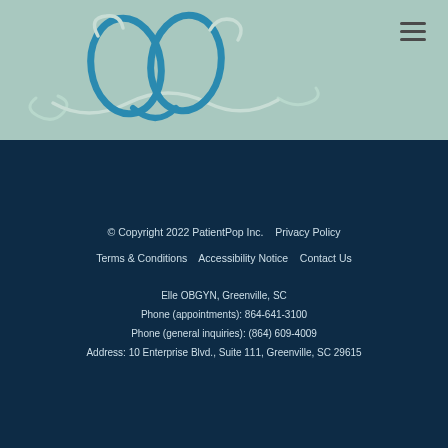[Figure (logo): Elle OBGYN logo with decorative swirling ribbon/loop design in teal and dark blue on a light teal background]
© Copyright 2022 PatientPop Inc.   Privacy Policy   Terms & Conditions   Accessibility Notice   Contact Us   Elle OBGYN, Greenville, SC   Phone (appointments): 864-641-3100   Phone (general inquiries): (864) 609-4009   Address: 10 Enterprise Blvd., Suite 111, Greenville, SC 29615